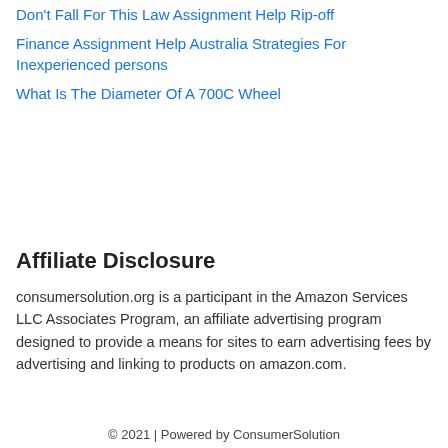Don't Fall For This Law Assignment Help Rip-off
Finance Assignment Help Australia Strategies For Inexperienced persons
What Is The Diameter Of A 700C Wheel
Affiliate Disclosure
consumersolution.org is a participant in the Amazon Services LLC Associates Program, an affiliate advertising program designed to provide a means for sites to earn advertising fees by advertising and linking to products on amazon.com.
© 2021 | Powered by ConsumerSolution